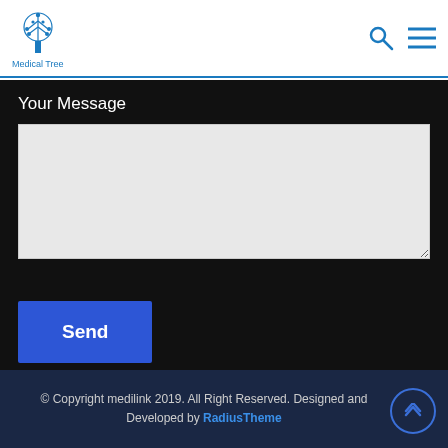Medical Tree
Your Message
[Figure (screenshot): Textarea input box for message]
Send
© Copyright medilink 2019. All Right Reserved. Designed and Developed by RadiusTheme